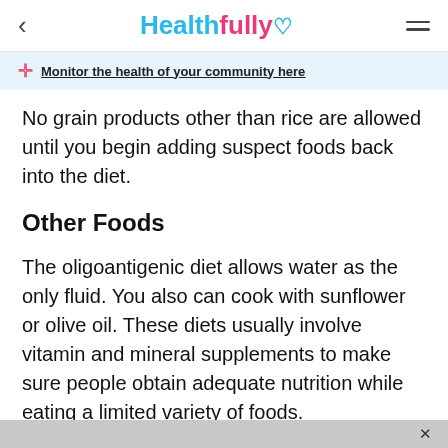< Healthfully ♡ ≡
Monitor the health of your community here
No grain products other than rice are allowed until you begin adding suspect foods back into the diet.
Other Foods
The oligoantigenic diet allows water as the only fluid. You also can cook with sunflower or olive oil. These diets usually involve vitamin and mineral supplements to make sure people obtain adequate nutrition while eating a limited variety of foods.